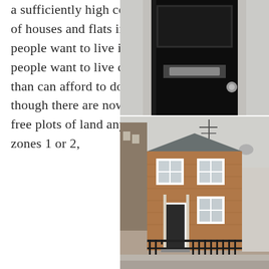a sufficiently high concentration of houses and flats in areas most people want to live in. Far more people want to live centrally than can afford to do so. Even though there are now almost no free plots of land anywhere in zones 1 or 2,
[Figure (photo): Close-up photograph of a black front door with letterbox and door knob, set in a white/grey painted facade]
[Figure (photo): Street-level photograph of a small Victorian brick terraced house in London with white-framed sash windows, black iron railings, and taller buildings visible either side; TV antenna on roof; overcast sky]